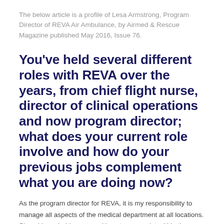The below article is a profile of Lesa Armstrong, Program Director of REVA Air Ambulance, by Airmed & Rescue Magazine published May 2016, Issue 76.
You've held several different roles with REVA over the years, from chief flight nurse, director of clinical operations and now program director; what does your current role involve and how do your previous jobs complement what you are doing now?
As the program director for REVA, it is my responsibility to manage all aspects of the medical department at all locations. Since I have held every position at some point within the medical department over the last 20 years, I